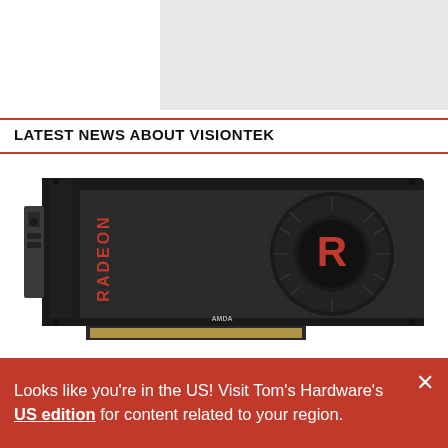[Figure (other): Light gray placeholder rectangle for an image at the top right of the page]
LATEST NEWS ABOUT VISIONTEK
[Figure (photo): AMD Radeon graphics card with dark perforated shroud, red RADEON text vertically on left side, large circular fan with red R logo on right side, AMDA branding on the bottom edge, gold PCIe connector visible at bottom]
Looks like you're in the US! Visit Tom's Hardware's US edition for content related to your region.